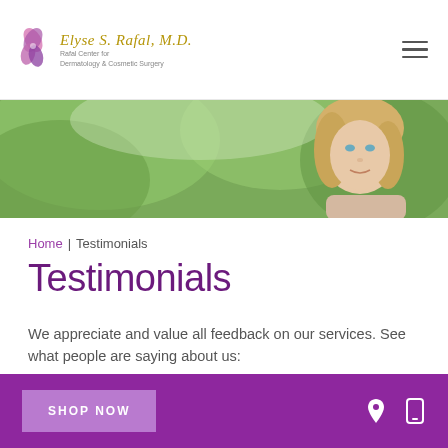Elyse S. Rafal, M.D. | Rafal Center for Dermatology & Cosmetic Surgery
[Figure (photo): Hero banner: smiling middle-aged blonde woman outdoors with green foliage background]
Home | Testimonials
Testimonials
We appreciate and value all feedback on our services. See what people are saying about us:
SHOP NOW